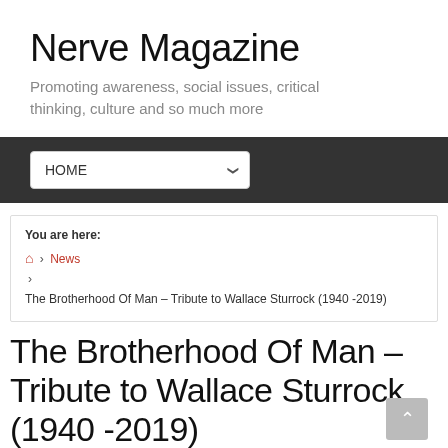Nerve Magazine
Promoting awareness, social issues, critical thinking, culture and so much more
HOME
You are here:
🏠 > News
> The Brotherhood Of Man – Tribute to Wallace Sturrock (1940 -2019)
The Brotherhood Of Man – Tribute to Wallace Sturrock (1940 -2019)